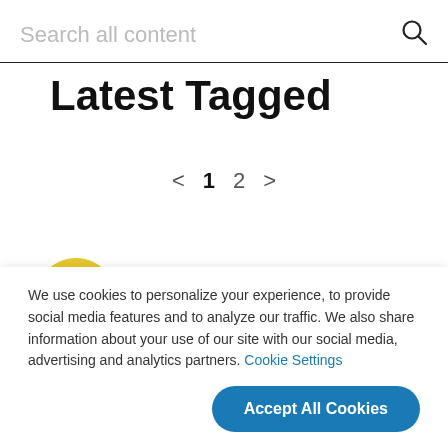Search all content
Latest Tagged
< 1 2 >
[Figure (photo): Circular avatar photo of a person in a yellow car]
Does this insane four-rotor RX-7
We use cookies to personalize your experience, to provide social media features and to analyze our traffic. We also share information about your use of our site with our social media, advertising and analytics partners. Cookie Settings
Accept All Cookies